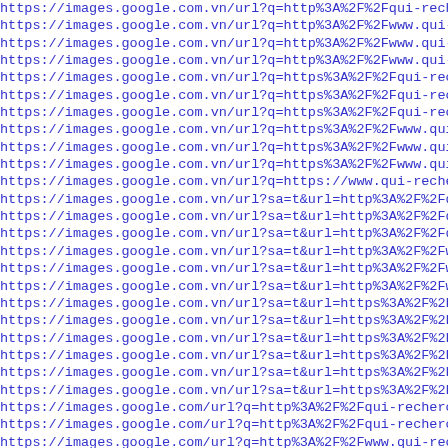https://images.google.com.vn/url?q=http%3A%2F%2Fqui-recher
https://images.google.com.vn/url?q=http%3A%2F%2Fwww.qui-rec
https://images.google.com.vn/url?q=http%3A%2F%2Fwww.qui-rec
https://images.google.com.vn/url?q=http%3A%2F%2Fwww.qui-rec
https://images.google.com.vn/url?q=https%3A%2F%2Fqui-recher
https://images.google.com.vn/url?q=https%3A%2F%2Fqui-recher
https://images.google.com.vn/url?q=https%3A%2F%2Fqui-recher
https://images.google.com.vn/url?q=https%3A%2F%2Fwww.qui-re
https://images.google.com.vn/url?q=https%3A%2F%2Fwww.qui-re
https://images.google.com.vn/url?q=https%3A%2F%2Fwww.qui-re
https://images.google.com.vn/url?q=https://www.qui-recherch
https://images.google.com.vn/url?sa=t&url=http%3A%2F%2Fqui-
https://images.google.com.vn/url?sa=t&url=http%3A%2F%2Fqui-
https://images.google.com.vn/url?sa=t&url=http%3A%2F%2Fqui-
https://images.google.com.vn/url?sa=t&url=http%3A%2F%2Fwww.
https://images.google.com.vn/url?sa=t&url=http%3A%2F%2Fwww.
https://images.google.com.vn/url?sa=t&url=http%3A%2F%2Fwww.
https://images.google.com.vn/url?sa=t&url=https%3A%2F%2Fqui
https://images.google.com.vn/url?sa=t&url=https%3A%2F%2Fqui
https://images.google.com.vn/url?sa=t&url=https%3A%2F%2Fqui
https://images.google.com.vn/url?sa=t&url=https%3A%2F%2Fwww
https://images.google.com.vn/url?sa=t&url=https%3A%2F%2Fwww
https://images.google.com.vn/url?sa=t&url=https%3A%2F%2Fwww
https://images.google.com/url?q=http%3A%2F%2Fqui-recherche.
https://images.google.com/url?q=http%3A%2F%2Fqui-recherche.
https://images.google.com/url?q=http%3A%2F%2Fwww.qui-recher
https://images.google.com/url?q=http%3A%2F%2Fwww.qui-recher
https://images.google.com/url?q=https%3A%2F%2Fqui-recherche
https://images.google.com/url?q=https%3A%2F%2Fqui-recherche
https://images.google.com/url?q=https%3A%2F%2Fwww.qui-reche